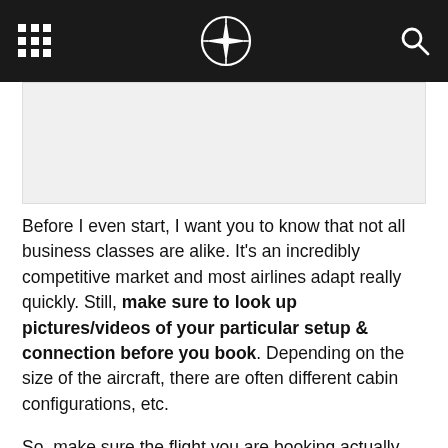[navigation header with grid icon, compass logo, and search icon]
[Figure (photo): Image placeholder area showing a travel/aircraft related photo]
Before I even start, I want you to know that not all business classes are alike. It's an incredibly competitive market and most airlines adapt really quickly. Still, make sure to look up pictures/videos of your particular setup & connection before you book. Depending on the size of the aircraft, there are often different cabin configurations, etc.
So, make sure the flight you are booking actually has the setup you desire. Even in business class, some seats are better than others. Not all window seats actually have access to a window either, etc
Also, airport facilities might vary greatly. Make sure to